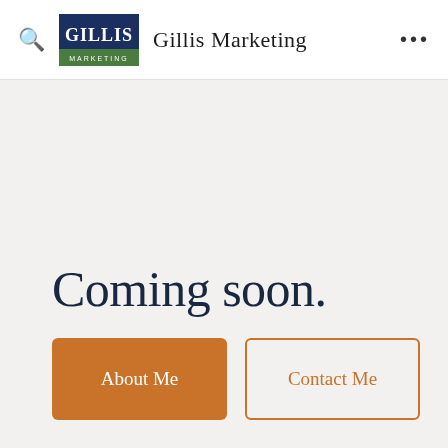Gillis Marketing
Coming soon.
About Me
Contact Me